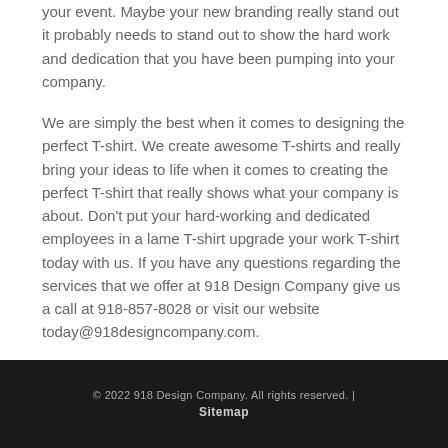your event. Maybe your new branding really stand out it probably needs to stand out to show the hard work and dedication that you have been pumping into your company.
We are simply the best when it comes to designing the perfect T-shirt. We create awesome T-shirts and really bring your ideas to life when it comes to creating the perfect T-shirt that really shows what your company is about. Don't put your hard-working and dedicated employees in a lame T-shirt upgrade your work T-shirt today with us. If you have any questions regarding the services that we offer at 918 Design Company give us a call at 918-857-8028 or visit our website today@918designcompany.com.
© 2022 918 Design Company. All rights reserved. | Sitemap